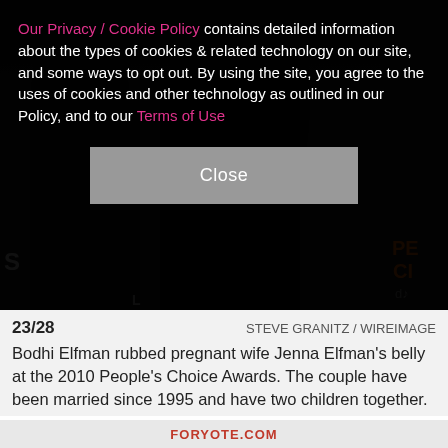Our Privacy / Cookie Policy contains detailed information about the types of cookies & related technology on our site, and some ways to opt out. By using the site, you agree to the uses of cookies and other technology as outlined in our Policy, and to our Terms of Use
Close
[Figure (photo): Dark photo of people at an event, partial figures visible against dark background with partial red/orange text visible in upper right corner]
23/28   STEVE GRANITZ / WIREIMAGE
Bodhi Elfman rubbed pregnant wife Jenna Elfman's belly at the 2010 People's Choice Awards. The couple have been married since 1995 and have two children together.
FORYOTE.COM